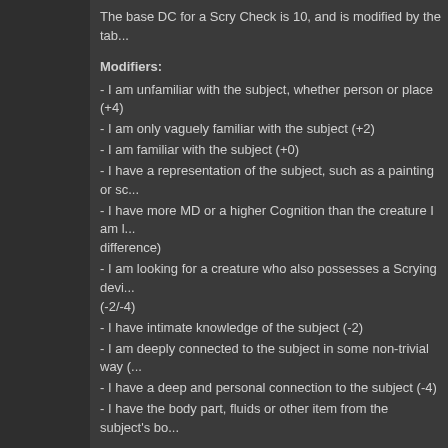The base DC for a Scry Check is 10, and is modified by the tab...
Modifiers:
- I am unfamiliar with the subject, whether person or place (+4)
- I am only vaguely familiar with the subject (+2)
- I am familiar with the subject (+0)
- I have a representation of the subject, such as a painting or sc...
- I have more MD or a higher Cognition than the creature I am l... difference)
- I am looking for a creature who also possesses a Scrying devi... (-2/-4)
- I have intimate knowledge of the subject (-2)
- I am deeply connected to the subject in some non-trivial way (...
- I have a deep and personal connection to the subject (-4)
- I have the body part, fluids or other item from the subject's bo...
There are also other complications to using a Crystal Ball or oth...
Firstly, these devices use what counts as divination magic, and ... divination wards or items that cloak the user in magical darknes... Void. For example, some Adventurers carry charms that prever their futures being predicted. To the Prophet or the Sage using ... would simply never appear. Some creatures also learn how to...